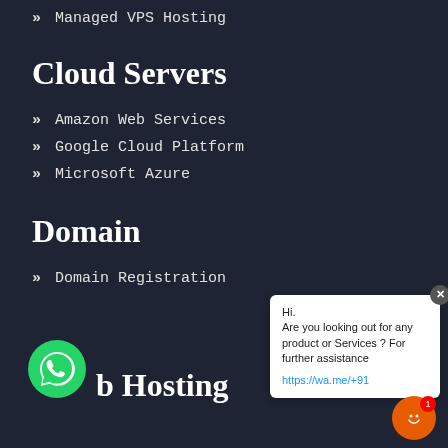>> Managed VPS Hosting
Cloud Servers
>> Amazon Web Services
>> Google Cloud Platform
>> Microsoft Azure
Domain
>> Domain Registration
[Figure (other): Chat popup with WhatsApp link: 'Hi. Are you looking out for any product or Services ? For further assistance https://wa.me/+91']
Web Hosting
[Figure (logo): WhatsApp green icon]